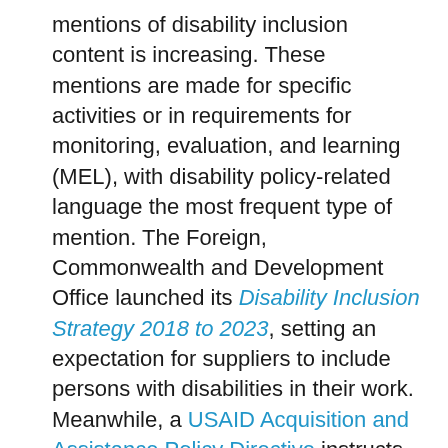mentions of disability inclusion content is increasing. These mentions are made for specific activities or in requirements for monitoring, evaluation, and learning (MEL), with disability policy-related language the most frequent type of mention. The Foreign, Commonwealth and Development Office launched its Disability Inclusion Strategy 2018 to 2023, setting an expectation for suppliers to include persons with disabilities in their work. Meanwhile, a USAID Acquisition and Assistance Policy Directive instructs contracts to include a clause requiring the meaningful inclusion of persons with disabilities in project implementation.